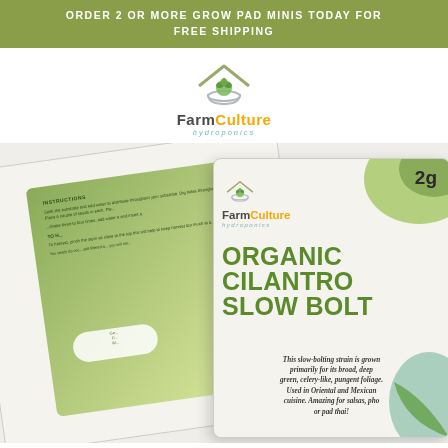ORDER 2 OR MORE GROW PAD MINIS TODAY FOR FREE SHIPPING
[Figure (logo): FarmCulture Hydroponics logo with house/plant icon]
[Figure (photo): Product photo showing two FarmCulture seed packets: a back envelope with instructions and a front packet labeled 'Organic Cilantro Slow Bolt 2g' with description text]